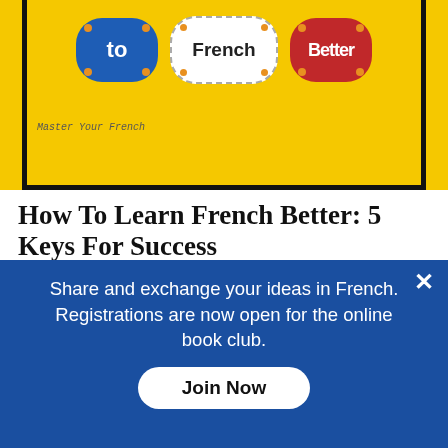[Figure (illustration): Book cover for 'How To Learn French Better' on yellow background with blue, white, and red speech bubbles and text 'to', 'French', 'Better'. Subtitle 'Master Your French' at bottom left.]
How To Learn French Better: 5 Keys For Success
Guides and Tips
To better learn French you have to leverage the right methods and
Share and exchange your ideas in French. Registrations are now open for the online book club.
Join Now